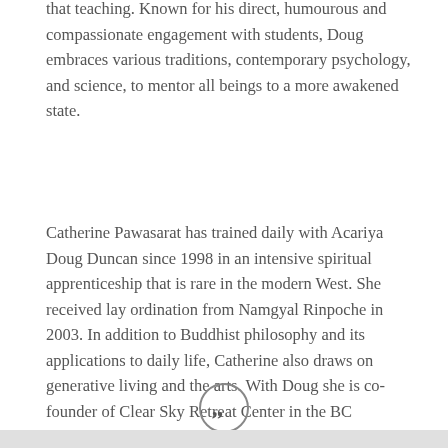that teaching. Known for his direct, humourous and compassionate engagement with students, Doug embraces various traditions, contemporary psychology, and science, to mentor all beings to a more awakened state.
Catherine Pawasarat has trained daily with Acariya Doug Duncan since 1998 in an intensive spiritual apprenticeship that is rare in the modern West. She received lay ordination from Namgyal Rinpoche in 2003. In addition to Buddhist philosophy and its applications to daily life, Catherine also draws on generative living and the arts. With Doug she is co-founder of Clear Sky Retreat Center in the BC Rockies.
[Figure (illustration): A circular icon with a grey border containing two closing quotation mark symbols (right double quotation marks) in dark grey.]